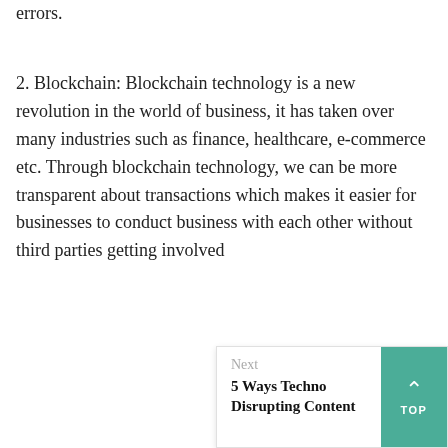errors.
2. Blockchain: Blockchain technology is a new revolution in the world of business, it has taken over many industries such as finance, healthcare, e-commerce etc. Through blockchain technology, we can be more transparent about transactions which makes it easier for businesses to conduct business with each other without third parties getting involved
Next
5 Ways Techno Disrupting Content